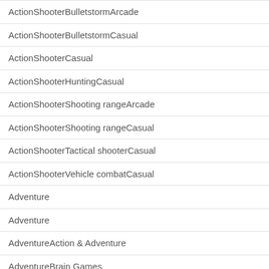| ActionShooterBulletstormArcade |
| ActionShooterBulletstormCasual |
| ActionShooterCasual |
| ActionShooterHuntingCasual |
| ActionShooterShooting rangeArcade |
| ActionShooterShooting rangeCasual |
| ActionShooterTactical shooterCasual |
| ActionShooterVehicle combatCasual |
| Adventure |
| Adventure |
| AdventureAction & Adventure |
| AdventureBrain Games |
| AdventureCasual |